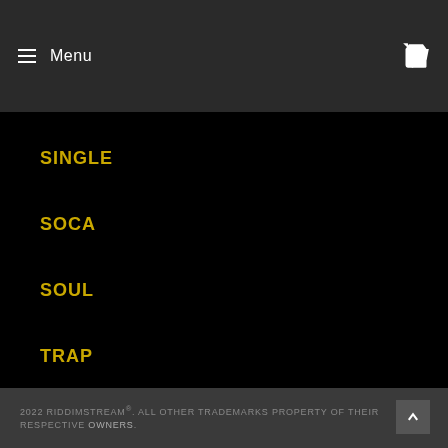≡ Menu
SINGLE
SOCA
SOUL
TRAP
2022 RIDDIMSTREAM®. ALL OTHER TRADEMARKS PROPERTY OF THEIR RESPECTIVE OWNERS.